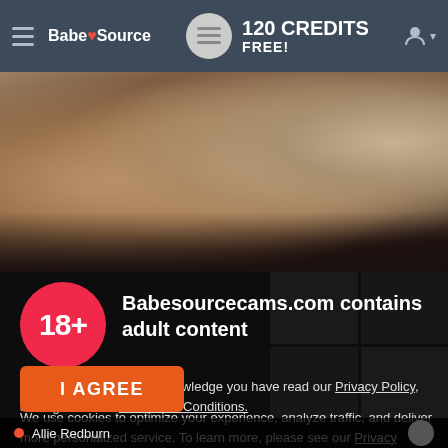BabeSource — 120 CREDITS FREE!
[Figure (photo): Adult content website screenshot showing a hero image of two women on a bed, partially undressed, in a bedroom setting.]
18+
Babesourcecams.com contains adult content
By using the site, you acknowledge you have read our Privacy Policy, and agree to our Terms and Conditions.
We use cookies to optimize your experience, analyze traffic, and deliver more personalized service. To learn more, please see our Privacy Policy.
I AGREE
Allie Redburn